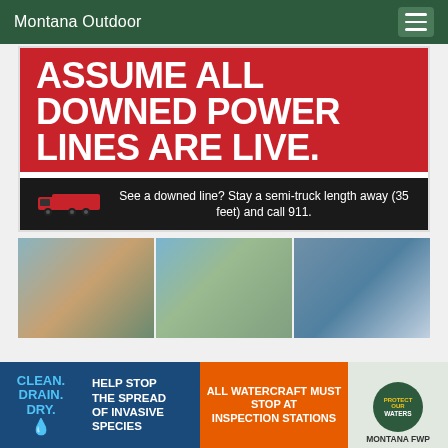Montana Outdoor
[Figure (infographic): Red safety banner: ASSUME ALL DOWNED POWER LINES ARE LIVE. Black strip with semi-truck icon and text: See a downed line? Stay a semi-truck length away (35 feet) and call 911.]
[Figure (photo): Three outdoor/fishing photos side by side: person in wide hat, person under canopy, person in blue holding fish]
[Figure (infographic): Bottom ad banner: Clean. Drain. Dry. logo; Help Stop The Spread Of Invasive Species; All Watercraft Must Stop At Inspection Stations (orange); Protect Our Waters Montana FWP badge]